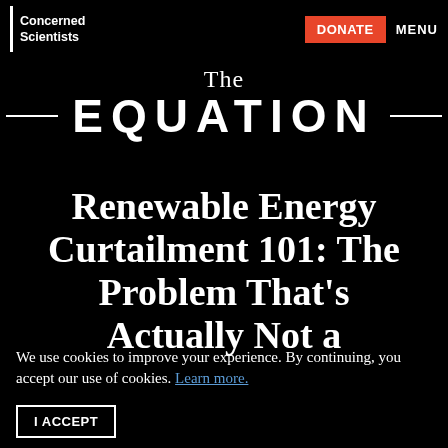Union of Concerned Scientists | DONATE | MENU
The EQUATION
Renewable Energy Curtailment 101: The Problem That's Actually Not a
We use cookies to improve your experience. By continuing, you accept our use of cookies. Learn more.
I ACCEPT